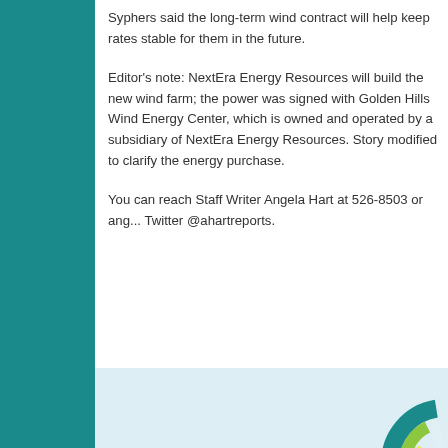Syphers said the long-term wind contract will help keep rates stable for them in the future.
Editor's note: NextEra Energy Resources will build the new wind farm; the power was signed with Golden Hills Wind Energy Center, which is owned and operated by a subsidiary of NextEra Energy Resources. Story modified to clarify the energy purchase.
You can reach Staff Writer Angela Hart at 526-8503 or ang... Twitter @ahartreports.
[Figure (logo): Governors' Wind Energy Coalition logo with wind turbine graphic in teal, green, and yellow circular design]
SITEMAP | About ©2022 G